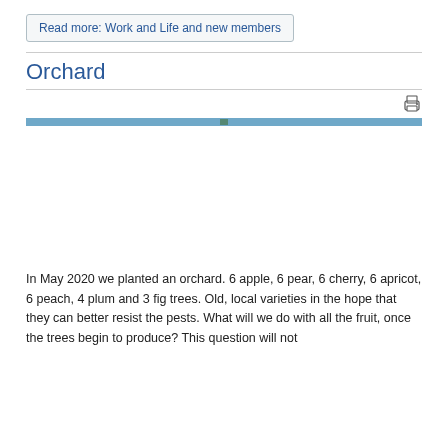Read more: Work and Life and new members
Orchard
[Figure (other): Blue horizontal banner/bar image with a small green icon in the center, representing an orchard or nature scene header image.]
In May 2020 we planted an orchard. 6 apple, 6 pear, 6 cherry, 6 apricot, 6 peach, 4 plum and 3 fig trees. Old, local varieties in the hope that they can better resist the pests. What will we do with all the fruit, once the trees begin to produce? This question will not